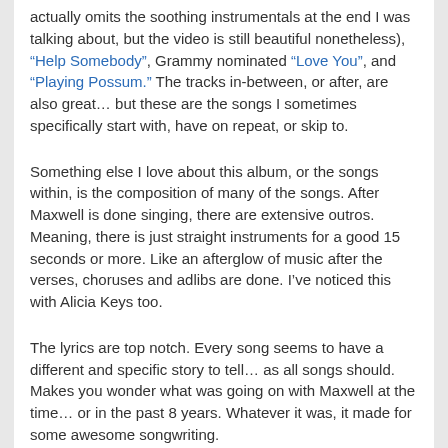actually omits the soothing instrumentals at the end I was talking about, but the video is still beautiful nonetheless), “Help Somebody”, Grammy nominated “Love You”, and “Playing Possum.” The tracks in-between, or after, are also great… but these are the songs I sometimes specifically start with, have on repeat, or skip to.
Something else I love about this album, or the songs within, is the composition of many of the songs. After Maxwell is done singing, there are extensive outros. Meaning, there is just straight instruments for a good 15 seconds or more. Like an afterglow of music after the verses, choruses and adlibs are done. I’ve noticed this with Alicia Keys too.
The lyrics are top notch. Every song seems to have a different and specific story to tell… as all songs should. Makes you wonder what was going on with Maxwell at the time… or in the past 8 years. Whatever it was, it made for some awesome songwriting.